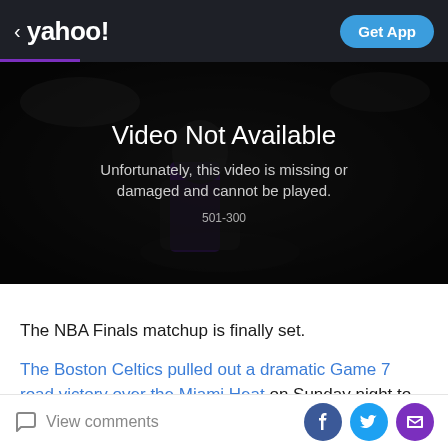< yahoo! | Get App
[Figure (screenshot): Video Not Available error screen over a dark NBA basketball game background. Text reads: 'Video Not Available - Unfortunately, this video is missing or damaged and cannot be played. 501-300']
The NBA Finals matchup is finally set.
The Boston Celtics pulled out a dramatic Game 7 road victory over the Miami Heat on Sunday night to capture the Eastern Conference crown and set up a Finals
View comments | Facebook | Twitter | Email